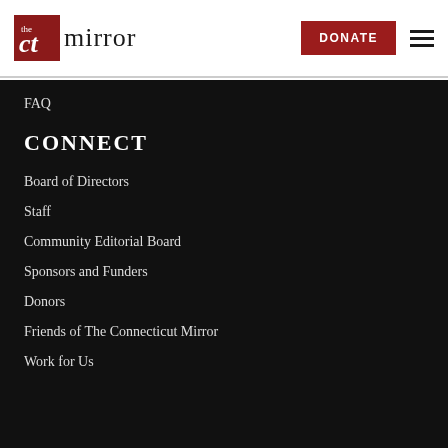The CT Mirror — DONATE
FAQ
CONNECT
Board of Directors
Staff
Community Editorial Board
Sponsors and Funders
Donors
Friends of The Connecticut Mirror
Work for Us